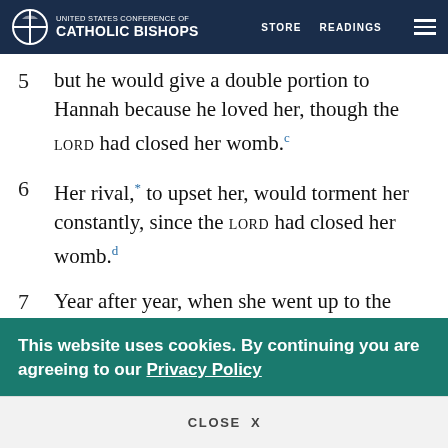UNITED STATES CONFERENCE OF CATHOLIC BISHOPS | STORE | READINGS
5 but he would give a double portion to Hannah because he loved her, though the LORD had closed her womb.c
6 Her rival,* to upset her, would torment her constantly, since the LORD had closed her womb.d
7 Year after year, when she went up to the house of the LORD, Peninnah would provoke her, and Hannah would weep and refuse to eat.*
This website uses cookies. By continuing you are agreeing to our Privacy Policy
CLOSE  X